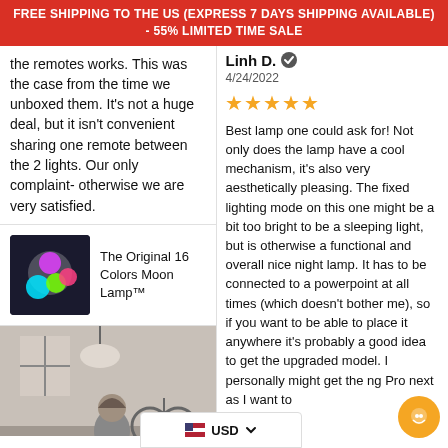FREE SHIPPING TO THE US (EXPRESS 7 DAYS SHIPPING AVAILABLE) - 55% LIMITED TIME SALE
the remotes works. This was the case from the time we unboxed them. It's not a huge deal, but it isn't convenient sharing one remote between the 2 lights. Our only complaint- otherwise we are very satisfied.
The Original 16 Colors Moon Lamp™
[Figure (photo): Black and white photo of a child holding a glowing Moon Lamp ball]
Linh D. ✔
4/24/2022
★★★★★
Best lamp one could ask for! Not only does the lamp have a cool mechanism, it's also very aesthetically pleasing. The fixed lighting mode on this one might be a bit too bright to be a sleeping light, but is otherwise a functional and overall nice night lamp. It has to be connected to a powerpoint at all times (which doesn't bother me), so if you want to be able to place it anywhere it's probably a good idea to get the upgraded model. I personally might get the ng Pro next as I want to
USD